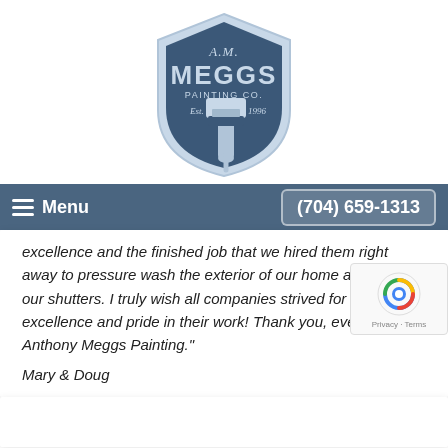[Figure (logo): A.M. Meggs Painting Co. shield logo with paintbrush, Est. 1996]
Menu   (704) 659-1313
excellence and the finished job that we hired them right away to pressure wash the exterior of our home and paint our shutters. I truly wish all companies strived for such excellence and pride in their work! Thank you, everyone, at Anthony Meggs Painting."
Mary & Doug